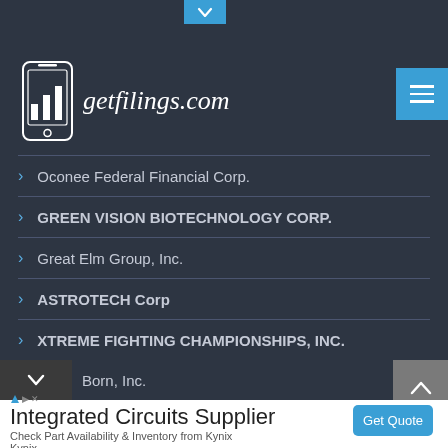[Figure (logo): getfilings.com website logo with mobile phone icon and bar chart graphic]
Oconee Federal Financial Corp.
GREEN VISION BIOTECHNOLOGY CORP.
Great Elm Group, Inc.
ASTROTECH Corp
XTREME FIGHTING CHAMPIONSHIPS, INC.
Born, Inc.
Integrated Circuits Supplier
Check Part Availability & Inventory from Kynix
Kynix